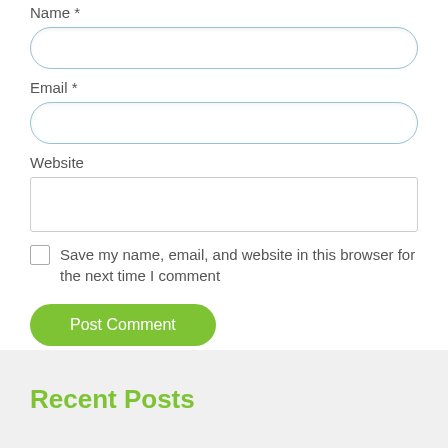Name *
[Figure (other): Rounded text input field for Name]
Email *
[Figure (other): Rounded text input field for Email]
Website
[Figure (other): Square text input field for Website]
Save my name, email, and website in this browser for the next time I comment
Post Comment
Recent Posts